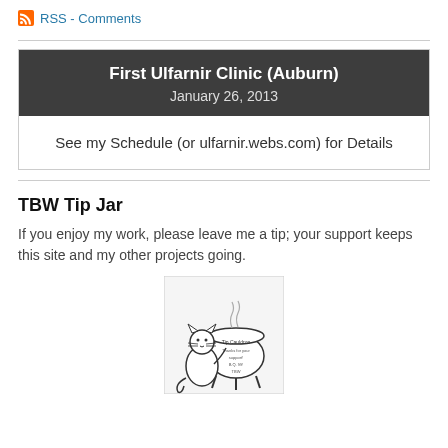RSS - Comments
First Ulfarnir Clinic (Auburn)
January 26, 2013
See my Schedule (or ulfarnir.webs.com) for Details
TBW Tip Jar
If you enjoy my work, please leave me a tip; your support keeps this site and my other projects going.
[Figure (illustration): Black and white cartoon illustration of a cat sitting next to a cauldron/jar labeled 'Tip Cauldron' with text 'Thanks for your support! B.Q. 99! TBW']